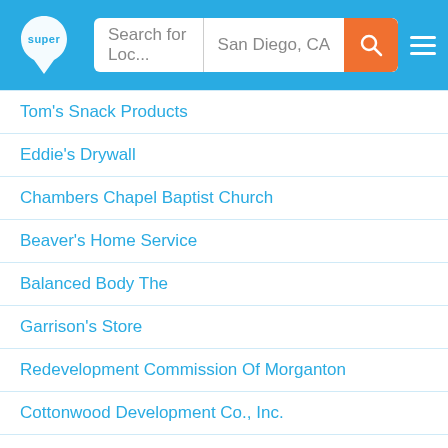Super | Search for Loc... | San Diego, CA
Tom's Snack Products
Eddie's Drywall
Chambers Chapel Baptist Church
Beaver's Home Service
Balanced Body The
Garrison's Store
Redevelopment Commission Of Morganton
Cottonwood Development Co., Inc.
Oak Park Styling & Tanning
Glen Alpine Elementary Day Care